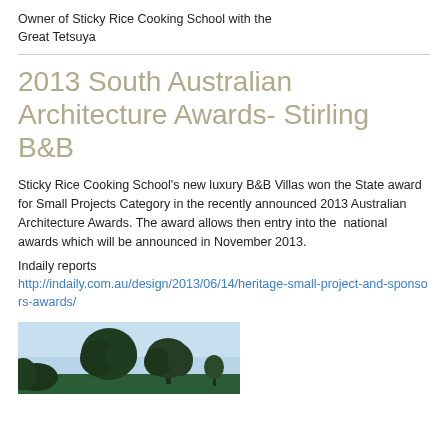Owner of Sticky Rice Cooking School with the Great Tetsuya
2013 South Australian Architecture Awards- Stirling B&B
Sticky Rice Cooking School's new luxury B&B Villas won the State award for Small Projects Category in the recently announced 2013 Australian Architecture Awards. The award allows then entry into the  national awards which will be announced in November 2013.
Indaily reports
http://indaily.com.au/design/2013/06/14/heritage-small-project-and-sponsors-awards/
[Figure (photo): Outdoor photo showing trees with dark foliage against a light blue sky, partially visible at the bottom of the page.]